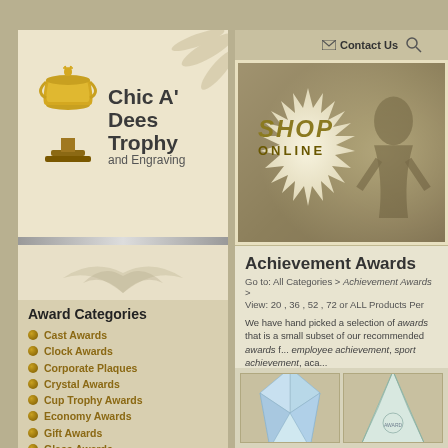[Figure (logo): Chic A' Dees Trophy and Engraving logo with gold trophy image on left and text on right]
Award Categories
Cast Awards
Clock Awards
Corporate Plaques
Crystal Awards
Cup Trophy Awards
Economy Awards
Gift Awards
Glass Awards
Medal Awards
Ribbon Awards
Trophies | Resin
Trophies | Traditional
Wood Awards
Acrylic Awards
Artistic Awards
Certificate Awards
Contact Us
[Figure (screenshot): Shop Online banner with starburst/seal background and shadowed figure]
Achievement Awards
Go to: All Categories > Achievement Awards
View: 20 , 36 , 52 , 72 or ALL Products Per Page
We have hand picked a selection of awards that is a small subset of our recommended awards for employee achievement, sport achievement, aca...
Go to Page: [Prev] [7] [8] [
[Figure (photo): Crystal diamond-shaped award trophy]
[Figure (photo): Glass crystal award]